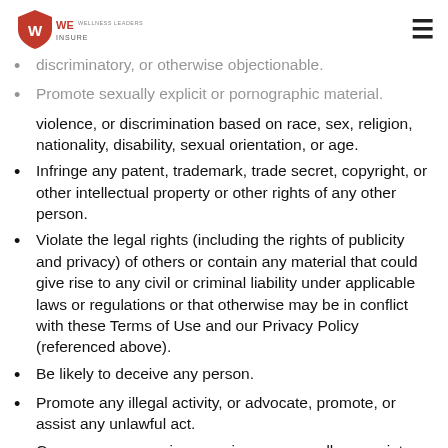We Insure [logo]
discriminatory, or otherwise objectionable.
Promote sexually explicit or pornographic material.
violence, or discrimination based on race, sex, religion, nationality, disability, sexual orientation, or age.
Infringe any patent, trademark, trade secret, copyright, or other intellectual property or other rights of any other person.
Violate the legal rights (including the rights of publicity and privacy) of others or contain any material that could give rise to any civil or criminal liability under applicable laws or regulations or that otherwise may be in conflict with these Terms of Use and our Privacy Policy (referenced above).
Be likely to deceive any person.
Promote any illegal activity, or advocate, promote, or assist any unlawful act.
Cause annoyance, inconvenience, or needless anxiety or be likely to upset, embarrass, alarm, or annoy any other person.
Impersonate any person, or misrepresent your identity